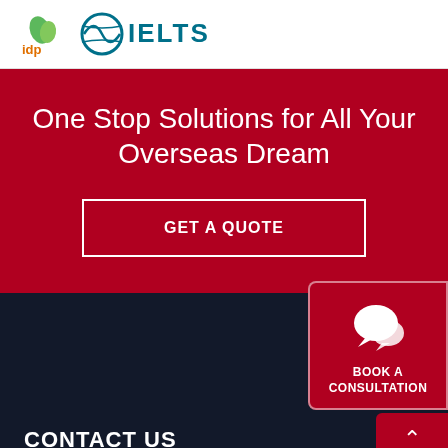[Figure (logo): IDP logo and IELTS logo in header bar]
One Stop Solutions for All Your Overseas Dream
GET A QUOTE
[Figure (infographic): Book a Consultation widget with chat bubble icon and up-arrow button]
CONTACT US